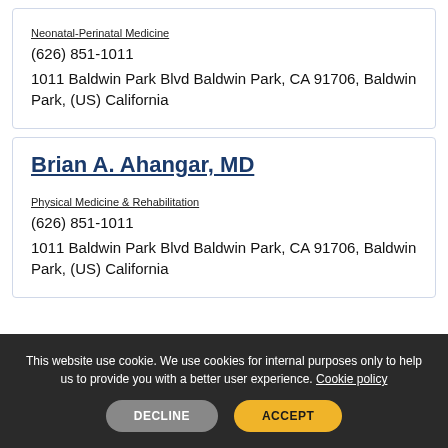Neonatal-Perinatal Medicine
(626) 851-1011
1011 Baldwin Park Blvd Baldwin Park, CA 91706, Baldwin Park, (US) California
Brian A. Ahangar, MD
Physical Medicine & Rehabilitation
(626) 851-1011
1011 Baldwin Park Blvd Baldwin Park, CA 91706, Baldwin Park, (US) California
This website use cookie. We use cookies for internal purposes only to help us to provide you with a better user experience. Cookie policy
DECLINE
ACCEPT